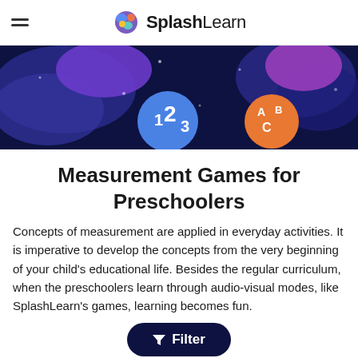SplashLearn
[Figure (illustration): Dark blue/navy hero banner with colorful blob shapes and two circular badges — one blue with '123' and one orange with 'ABC']
Measurement Games for Preschoolers
Concepts of measurement are applied in everyday activities. It is imperative to develop the concepts from the very beginning of your child's educational life. Besides the regular curriculum, when the preschoolers learn through audio-visual modes, like SplashLearn's games, learning becomes fun.
Filter
Pe...arning